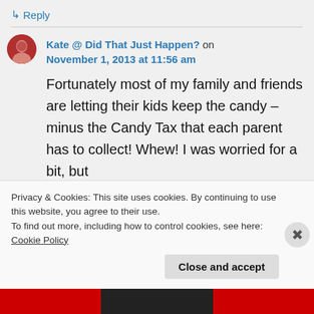↳ Reply
Kate @ Did That Just Happen? on November 1, 2013 at 11:56 am
Fortunately most of my family and friends are letting their kids keep the candy – minus the Candy Tax that each parent has to collect! Whew! I was worried for a bit, but
Privacy & Cookies: This site uses cookies. By continuing to use this website, you agree to their use.
To find out more, including how to control cookies, see here: Cookie Policy
Close and accept